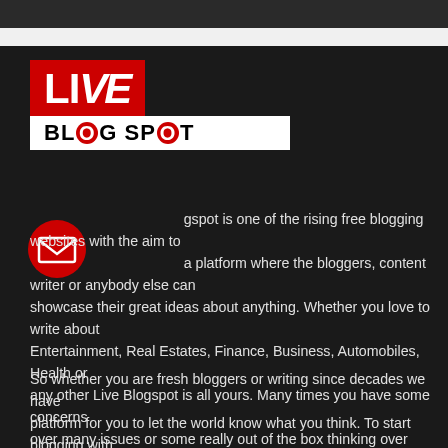[Figure (logo): Live Blog Spot logo: red box with white LIVE text, white box below with black BLOG SPOT text]
Liveblogspot is one of the rising free blogging websites with the aim to provide a platform where the bloggers, content writer or anybody else can showcase their great ideas about anything. Whether you love to write about Entertainment, Real Estates, Finance, Business, Automobiles, Health or any other Live Blogspot is all yours. Many times you have some concerns over many issues or some really out of the box thinking over certain things, but the problem you have is the lack of platform to express your views. Live Blogspot is specially meant for this purpose only.
So whether you are fresh bloggers or writing since decades we have platform for you to let the world know what you think. To start blogging with us you don't need to have technical knowledge as your words are sufficient.